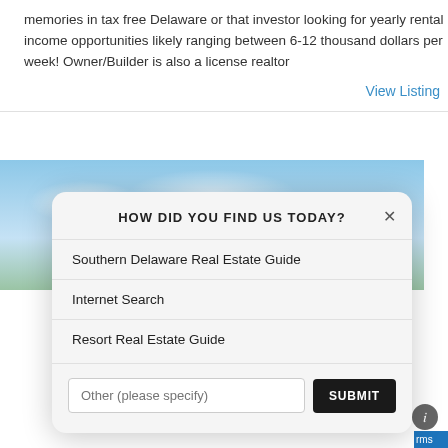memories in tax free Delaware or that investor looking for yearly rental income opportunities likely ranging between 6-12 thousand dollars per week! Owner/Builder is also a license realtor
View Listing
[Figure (photo): Outdoor photo showing blue sky with clouds and green landscape below]
HOW DID YOU FIND US TODAY?
Southern Delaware Real Estate Guide
Internet Search
Resort Real Estate Guide
Other (please specify)
SUBMIT